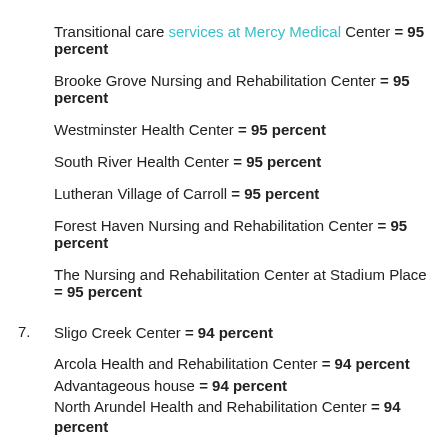Transitional care services at Mercy Medical Center = 95 percent
Brooke Grove Nursing and Rehabilitation Center = 95 percent
Westminster Health Center = 95 percent
South River Health Center = 95 percent
Lutheran Village of Carroll = 95 percent
Forest Haven Nursing and Rehabilitation Center = 95 percent
The Nursing and Rehabilitation Center at Stadium Place = 95 percent
7. Sligo Creek Center = 94 percent
Arcola Health and Rehabilitation Center = 94 percent
Advantageous house = 94 percent
North Arundel Health and Rehabilitation Center = 94 percent
8. Oak Manor Rehabilitation and Health Care Center = 93 percent
Shady Grove Nursing and Rehabilitation Center = 93 percent